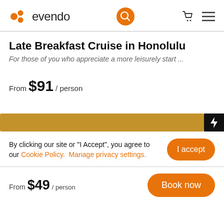evendo
Late Breakfast Cruise in Honolulu
For those of you who appreciate a more leisurely start ...
From $91 / person
[Figure (other): Orange/gold progress bar with black lightning bolt icon on the right]
By clicking our site or "I Accept", you agree to our Cookie Policy.  Manage privacy settings.
I accept
From $49 / person
Book now